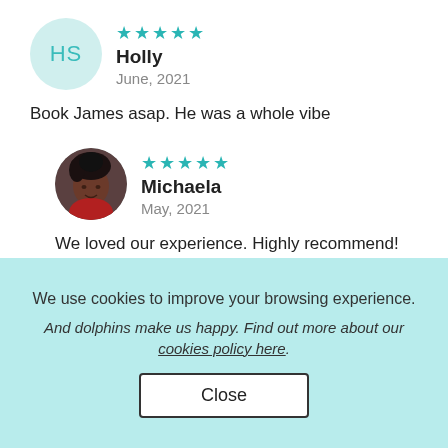[Figure (illustration): Circular avatar with teal initials HS on light teal background]
★★★★★
Holly
June, 2021
Book James asap. He was a whole vibe
[Figure (photo): Circular profile photo of Michaela, a woman with braids]
★★★★★
Michaela
May, 2021
We loved our experience. Highly recommend!
[Figure (illustration): Partial circular avatar with yellow/cream background, partially cut off]
★★★★★
We use cookies to improve your browsing experience.
And dolphins make us happy. Find out more about our cookies policy here.
Close